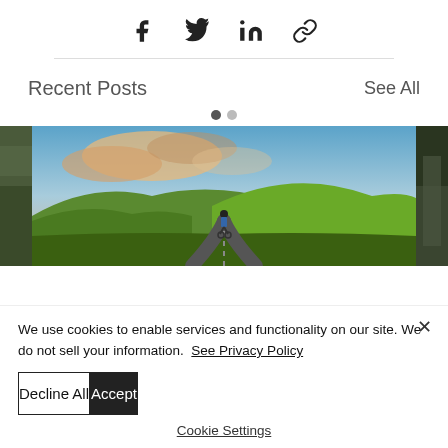[Figure (other): Social share icons: Facebook, Twitter, LinkedIn, Link]
[Figure (photo): Recent Posts carousel with a center image of a cyclist on a road through green hilly landscape under a dramatic sky, and partial side images on left and right]
We use cookies to enable services and functionality on our site. We do not sell your information.  See Privacy Policy
Decline All
Accept
Cookie Settings